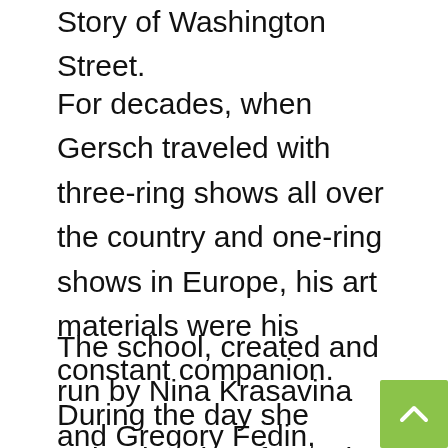Story of Washington Street.
For decades, when Gersch traveled with three-ring shows all over the country and one-ring shows in Europe, his art materials were his constant companion. During the day she trained and performed, at night she drew and painted. Several pastels and line drawings of life on the road are included in the exhibit.
The school, created and run by Nina Krasavina and Gregory Fedin, provided most of the acts that made up the early years of the Big Apple Circus and oversaw the training of two dozen students who went on to go on to professional careers. Gersch captured portraits of his Russian teachers, as well as scenes from his decades of